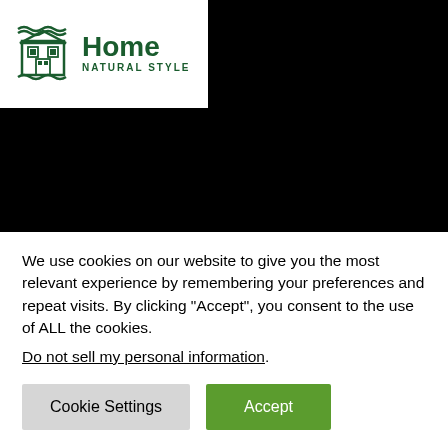[Figure (logo): Home Natural Style logo with green decorative icon and text]
[Figure (illustration): Bianca Beltramello Art and Fashion brand banner with cursive white text, golden italic tagline, and black-and-white fashion photo of a woman]
We use cookies on our website to give you the most relevant experience by remembering your preferences and repeat visits. By clicking “Accept”, you consent to the use of ALL the cookies.
Do not sell my personal information.
Cookie Settings
Accept